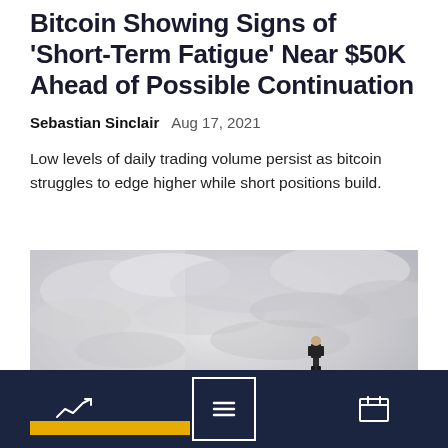Bitcoin Showing Signs of 'Short-Term Fatigue' Near $50K Ahead of Possible Continuation
Sebastian Sinclair  Aug 17, 2021
Low levels of daily trading volume persist as bitcoin struggles to edge higher while short positions build.
[Figure (photo): A businessman in a suit standing on the edge of a rocky cliff, with dramatic cloudy sky in the background. Yellow bar partially visible at bottom.]